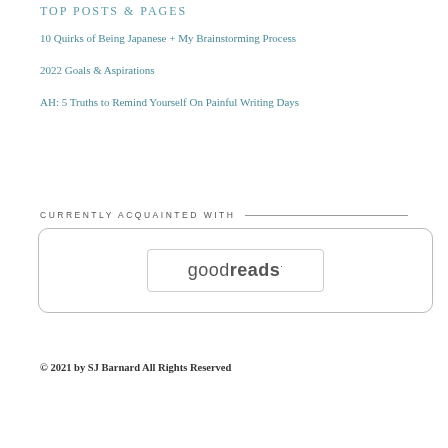TOP POSTS & PAGES
10 Quirks of Being Japanese + My Brainstorming Process
2022 Goals & Aspirations
AH: 5 Truths to Remind Yourself On Painful Writing Days
CURRENTLY ACQUAINTED WITH
[Figure (logo): Goodreads logo inside a rounded rectangle box with inner border]
© 2021 by SJ Barnard All Rights Reserved